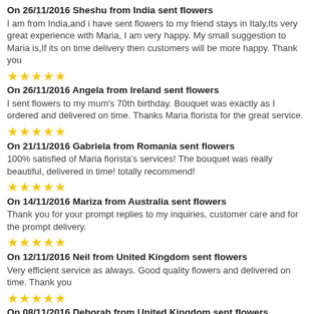On 26/11/2016 Sheshu from India sent flowers
I am from India,and i have sent flowers to my friend stays in Italy,Its very great experience with Maria, I am very happy. My small suggestion to Maria is,If its on time delivery then customers will be more happy. Thank you
On 26/11/2016 Angela from Ireland sent flowers
I sent flowers to my mum's 70th birthday. Bouquet was exactly as I ordered and delivered on time. Thanks Maria florista for the great service.
On 21/11/2016 Gabriela from Romania sent flowers
100% satisfied of Maria fiorista's services! The bouquet was really beautiful, delivered in time! totally recommend!
On 14/11/2016 Mariza from Australia sent flowers
Thank you for your prompt replies to my inquiries, customer care and for the prompt delivery.
On 12/11/2016 Neil from United Kingdom sent flowers
Very efficient service as always. Good quality flowers and delivered on time. Thank you
On 08/11/2016 Deborah from United Kingdom sent flowers
Brilliant and efficient I tried everywhere to get Sunflowers for my friends birthday and they delivered a huge bunch of them the next day